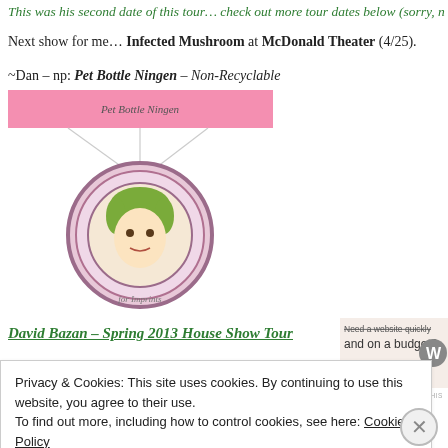This was his second date of this tour… check out more tour dates below (sorry, n
Next show for me… Infected Mushroom at McDonald Theater (4/25).
~Dan – np: Pet Bottle Ningen – Non-Recyclable
[Figure (illustration): Pet Bottle Ningen album artwork: pink banner with text at top, below it a circular medallion with a illustrated face of a girl with green hair, decorative border around medallion, small text at bottom reading 'for Imprints']
[Figure (screenshot): Advertisement banner with beige background showing text 'Need a website quickly and on a budget?' with a WordPress logo W on the right, and 'REPORT THIS' text at bottom right]
David Bazan – Spring 2013 House Show Tour
Privacy & Cookies: This site uses cookies. By continuing to use this website, you agree to their use. To find out more, including how to control cookies, see here: Cookie Policy
Close and accept